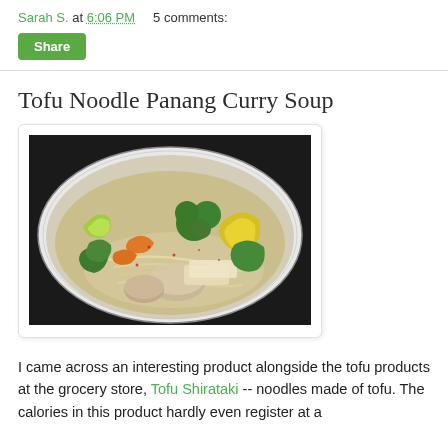Sarah S. at 6:06 PM    5 comments:
Share
Tofu Noodle Panang Curry Soup
[Figure (photo): A bowl of Tofu Noodle Panang Curry Soup with vegetables including broccoli, yellow bell peppers, mushrooms, carrots, and noodles in a light broth, served in a white bowl with a dark rim on a white plate.]
I came across an interesting product alongside the tofu products at the grocery store, Tofu Shirataki -- noodles made of tofu. The calories in this product hardly even register at a